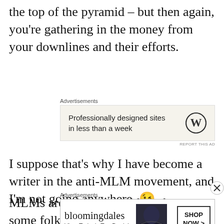the top of the pyramid – but then again, you're gathering in the money from your downlines and their efforts.
[Figure (other): WordPress advertisement: 'Professionally designed sites in less than a week' with WordPress logo]
I suppose that's why I have become a writer in the anti-MLM movement, and I'm not going anywhere. 😉
MLMs are a bigger problem than some folk will give them credit for, and I will do my bit t
[Figure (other): Bloomingdale's advertisement: 'View Today's Top Deals!' with SHOP NOW button and woman with hat image]